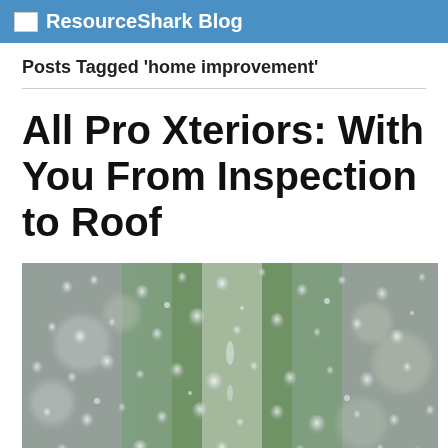ResourceShark Blog
Posts Tagged 'home improvement'
All Pro Xteriors: With You From Inspection to Roof
[Figure (photo): Close-up photo of water droplets on a glass surface with blurred green foliage in the background]